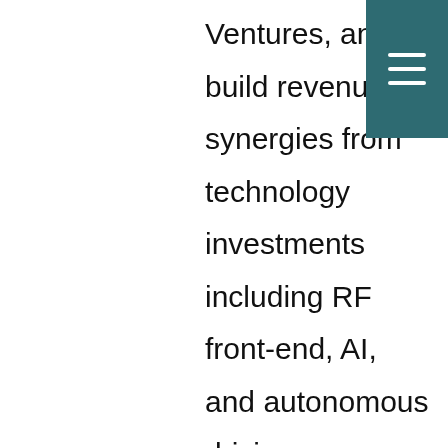Ventures, and to build revenue synergies from technology investments including RF front-end, AI, and autonomous driving.

Previously, he had two successful startup company exits where he held management and engineering leadership roles. He was the engineering director and product line manager at Applied Wave Research (AWR) Inc. from